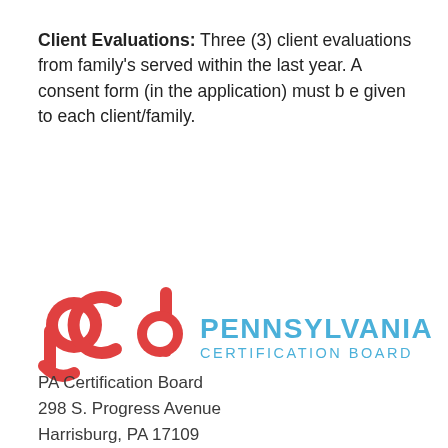Client Evaluations: Three (3) client evaluations from family's served within the last year. A consent form (in the application) must b e given to each client/family.
[Figure (logo): PCB (Pennsylvania Certification Board) logo: red stylized 'pcb' letterforms on the left, blue text 'PENNSYLVANIA CERTIFICATION BOARD' on the right]
PA Certification Board
298 S. Progress Avenue
Harrisburg, PA 17109
Phone: